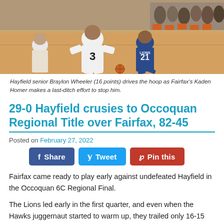[Figure (photo): Basketball game photo showing Hayfield player #3 driving toward the hoop with a Fairfax Lions player #21 attempting to defend]
Hayfield senior Braylon Wheeler (16 points) drives the hoop as Fairfax's Kaden Homer makes a last-ditch effort to stop him.
29-0 Hayfield crusies to Occoquan Regional Title over Fairfax, 82-45
Posted on February 27, 2022
Fairfax came ready to play early against undefeated Hayfield in the Occoquan 6C Regional Final.
The Lions led early in the first quarter, and even when the Hawks juggernaut started to warm up, they trailed only 16-15 after a quarter. The Hawks upped their lead to